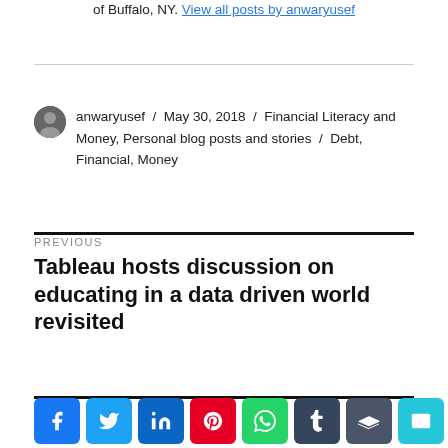of Buffalo, NY. View all posts by anwaryusef
anwaryusef / May 30, 2018 / Financial Literacy and Money, Personal blog posts and stories / Debt, Financial, Money
PREVIOUS
Tableau hosts discussion on educating in a data driven world revisited
Share buttons: Facebook, Twitter, LinkedIn, Pinterest, WhatsApp, Tumblr, Buffer, Email